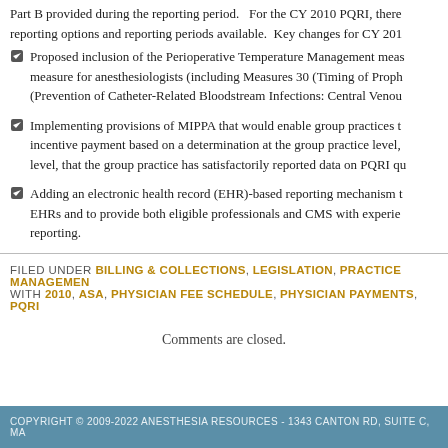Part B provided during the reporting period. For the CY 2010 PQRI, there reporting options and reporting periods available. Key changes for CY 201
Proposed inclusion of the Perioperative Temperature Management measure for anesthesiologists (including Measures 30 (Timing of Proph (Prevention of Catheter-Related Bloodstream Infections: Central Venou
Implementing provisions of MIPPA that would enable group practices to incentive payment based on a determination at the group practice level, level, that the group practice has satisfactorily reported data on PQRI qu
Adding an electronic health record (EHR)-based reporting mechanism t EHRs and to provide both eligible professionals and CMS with experie reporting.
FILED UNDER BILLING & COLLECTIONS, LEGISLATION, PRACTICE MANAGEMENT WITH 2010, ASA, PHYSICIAN FEE SCHEDULE, PHYSICIAN PAYMENTS, PQRI
Comments are closed.
COPYRIGHT © 2009-2022 ANESTHESIA RESOURCES - 1343 CANTON RD, SUITE C, MA